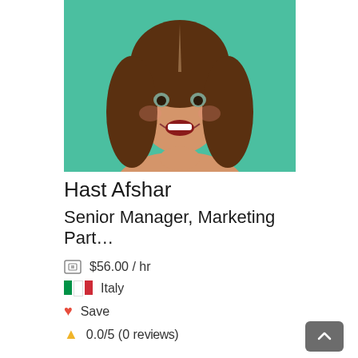[Figure (photo): Portrait photo of a young woman with long curly brown hair, smiling with open mouth and hands pressed together, against a teal/mint green background]
Hast Afshar
Senior Manager, Marketing Part…
$56.00 / hr
Italy
Save
0.0/5 (0 reviews)